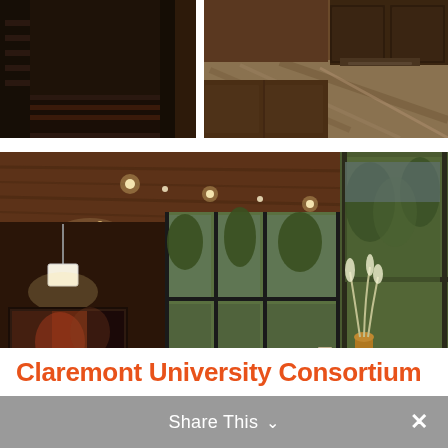[Figure (photo): Interior architectural photo split into two panels: top panel shows dark wood kitchen/hallway with stone countertop and sink area; bottom panel shows modern open-plan living/dining room with wood ceiling, recessed lighting, floor-to-ceiling glass windows overlooking trees, dining table with chairs, living area with dark sofas, and marble countertop in foreground.]
Claremont University Consortium
Share This ∨  ×